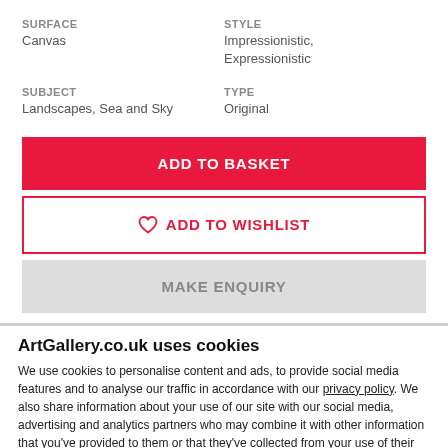SURFACE
Canvas
STYLE
Impressionistic, Expressionistic
SUBJECT
Landscapes, Sea and Sky
TYPE
Original
ADD TO BASKET
ADD TO WISHLIST
MAKE ENQUIRY
ArtGallery.co.uk uses cookies
We use cookies to personalise content and ads, to provide social media features and to analyse our traffic in accordance with our privacy policy. We also share information about your use of our site with our social media, advertising and analytics partners who may combine it with other information that you've provided to them or that they've collected from your use of their